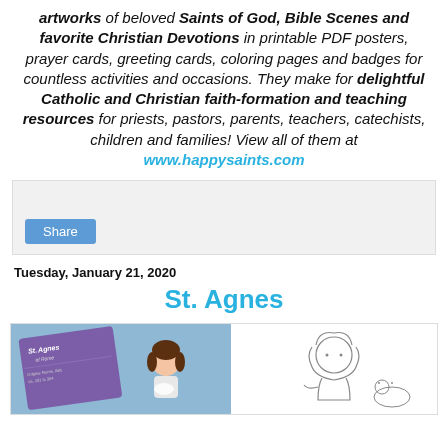artworks of beloved Saints of God, Bible Scenes and favorite Christian Devotions in printable PDF posters, prayer cards, greeting cards, coloring pages and badges for countless activities and occasions. They make for delightful Catholic and Christian faith-formation and teaching resources for priests, pastors, parents, teachers, catechists, children and families! View all of them at www.happysaints.com
[Figure (screenshot): Share button widget box with light gray background]
Tuesday, January 21, 2020
St. Agnes
[Figure (illustration): Two images side by side: left shows a St. Agnes of Rome prayer card with a cartoon girl illustration on a purple card against a blue textured background; right shows a coloring page outline of a cartoon girl character]